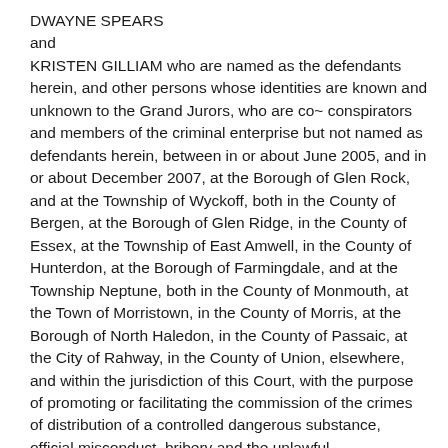DWAYNE SPEARS
and
KRISTEN GILLIAM who are named as the defendants herein, and other persons whose identities are known and unknown to the Grand Jurors, who are co~ conspirators and members of the criminal enterprise but not named as defendants herein, between in or about June 2005, and in or about December 2007, at the Borough of Glen Rock, and at the Township of Wyckoff, both in the County of Bergen, at the Borough of Glen Ridge, in the County of Essex, at the Township of East Amwell, in the County of Hunterdon, at the Borough of Farmingdale, and at the Township Neptune, both in the County of Monmouth, at the Town of Morristown, in the County of Morris, at the Borough of North Haledon, in the County of Passaic, at the City of Rahway, in the County of Union, elsewhere, and within the jurisdiction of this Court, with the purpose of promoting or facilitating the commission of the crimes of distribution of a controlled dangerous substance, official misconduct, bribery and the unlawful